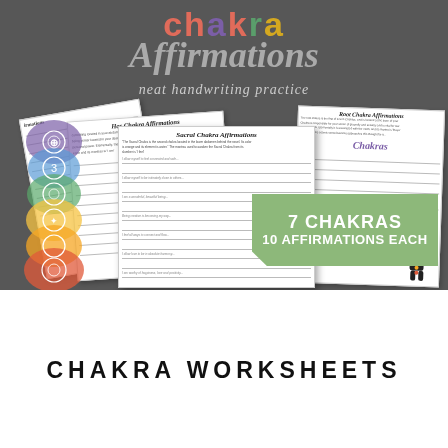Chakra Affirmations neat handwriting practice
[Figure (illustration): Preview of chakra affirmation worksheet pages fanned out, with a rainbow watercolor chakra symbol strip on the left, a green badge reading '7 CHAKRAS 10 AFFIRMATIONS EACH', and worksheet pages showing titles like 'Root Chakra Affirmations', 'Sacral Chakra Affirmations', 'Has Chakra Affirmations', with ruled lines for handwriting practice. A figure showing chakra body positions appears on the right worksheet.]
CHAKRA WORKSHEETS